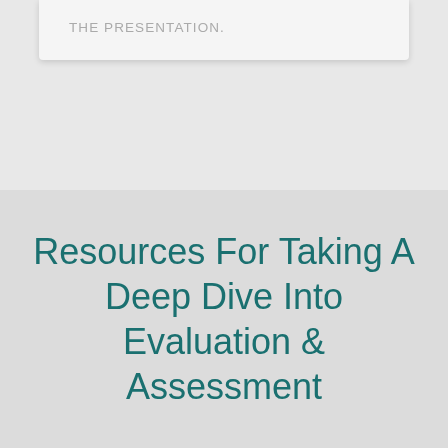THE PRESENTATION.
Resources For Taking A Deep Dive Into Evaluation & Assessment